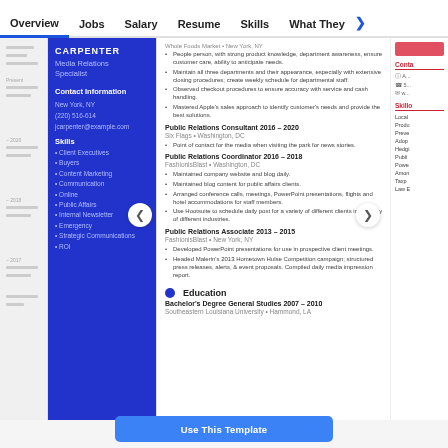Overview  Jobs  Salary  Resume  Skills  What They >
[Figure (screenshot): A resume template screenshot showing a two-column layout. Left blue sidebar with name 'CARPENTER', title 'Media Relations Specialist', contact info, and skills list. Right white column with work experience entries for Public Relations roles and Education section.]
Use This Template